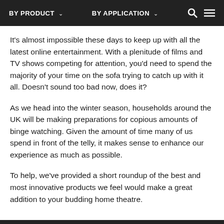BY PRODUCT ∨   BY APPLICATION ∨
It's almost impossible these days to keep up with all the latest online entertainment. With a plenitude of films and TV shows competing for attention, you'd need to spend the majority of your time on the sofa trying to catch up with it all. Doesn't sound too bad now, does it?
As we head into the winter season, households around the UK will be making preparations for copious amounts of binge watching. Given the amount of time many of us spend in front of the telly, it makes sense to enhance our experience as much as possible.
To help, we've provided a short roundup of the best and most innovative products we feel would make a great addition to your budding home theatre.